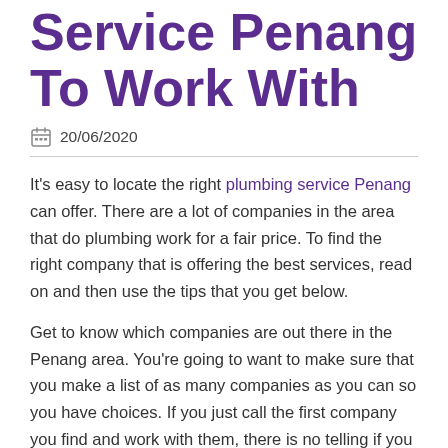Service Penang To Work With
20/06/2020
It’s easy to locate the right plumbing service Penang can offer. There are a lot of companies in the area that do plumbing work for a fair price. To find the right company that is offering the best services, read on and then use the tips that you get below.
Get to know which companies are out there in the Penang area. You’re going to want to make sure that you make a list of as many companies as you can so you have choices. If you just call the first company you find and work with them, there is no telling if you are going to be happy with the way they do things or if you’re going to